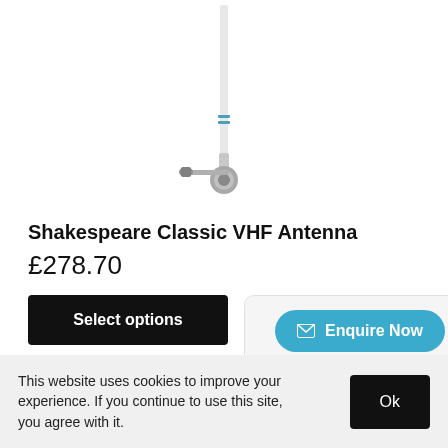[Figure (photo): Shakespeare Classic VHF Antenna product photo showing a tall white antenna with a chrome mounting bracket and stainless hardware]
Shakespeare Classic VHF Antenna
£278.70
Select options
Enquire Now
01248 665666
This website uses cookies to improve your experience. If you continue to use this site, you agree with it.